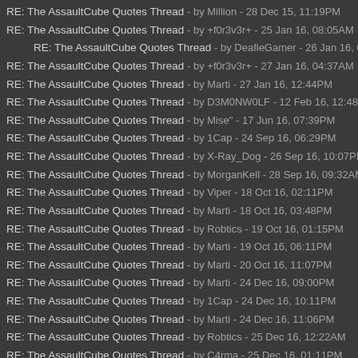RE: The AssaultCube Quotes Thread - by Million - 28 Dec 15, 11:19PM
RE: The AssaultCube Quotes Thread - by +f0r3v3r+ - 25 Jan 16, 08:05AM
RE: The AssaultCube Quotes Thread - by DeafieGamer - 26 Jan 16, 09:30AM
RE: The AssaultCube Quotes Thread - by +f0r3v3r+ - 27 Jan 16, 04:37AM
RE: The AssaultCube Quotes Thread - by Marti - 27 Jan 16, 12:44PM
RE: The AssaultCube Quotes Thread - by D3M0NW0LF - 12 Feb 16, 12:48PM
RE: The AssaultCube Quotes Thread - by Mise" - 17 Jun 16, 07:39PM
RE: The AssaultCube Quotes Thread - by 1Cap - 24 Sep 16, 06:29PM
RE: The AssaultCube Quotes Thread - by X-Ray_Dog - 26 Sep 16, 10:07PM
RE: The AssaultCube Quotes Thread - by MorganKell - 28 Sep 16, 09:32AM
RE: The AssaultCube Quotes Thread - by Viper - 18 Oct 16, 02:11PM
RE: The AssaultCube Quotes Thread - by Marti - 18 Oct 16, 03:48PM
RE: The AssaultCube Quotes Thread - by Robtics - 19 Oct 16, 01:15PM
RE: The AssaultCube Quotes Thread - by Marti - 19 Oct 16, 06:11PM
RE: The AssaultCube Quotes Thread - by Marti - 20 Oct 16, 11:07PM
RE: The AssaultCube Quotes Thread - by Marti - 24 Dec 16, 09:00PM
RE: The AssaultCube Quotes Thread - by 1Cap - 24 Dec 16, 10:11PM
RE: The AssaultCube Quotes Thread - by Marti - 24 Dec 16, 11:06PM
RE: The AssaultCube Quotes Thread - by Robtics - 25 Dec 16, 12:22AM
RE: The AssaultCube Quotes Thread - by C4rma - 25 Dec 16, 01:11PM
RE: The AssaultCube Quotes Thread - by pt_amoux - 03 Jan 17, 12:16PM
RE: The AssaultCube Quotes Thread - by 1Cap - 07 Feb 17, 08:28AM
RE: The AssaultCube Quotes Thread - by 1Cap - 01 Mar 17, 08:55AM
RE: The AssaultCube Quotes Thread - by Marti - 02 Mar 17, 02:32PM
RE: The AssaultCube Quotes Thread - by Marti - 12 Jun 17, 11:50PM